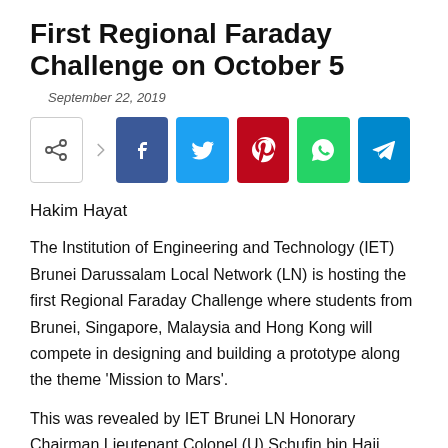First Regional Faraday Challenge on October 5
September 22, 2019
[Figure (other): Social share bar with share icon, Facebook, Twitter, Pinterest, WhatsApp, and Telegram buttons]
Hakim Hayat
The Institution of Engineering and Technology (IET) Brunei Darussalam Local Network (LN) is hosting the first Regional Faraday Challenge where students from Brunei, Singapore, Malaysia and Hong Kong will compete in designing and building a prototype along the theme ‘Mission to Mars’.
This was revealed by IET Brunei LN Honorary Chairman Lieutenant Colonel (U) Schufin bin Haji Brahim at a press conference yesterday.